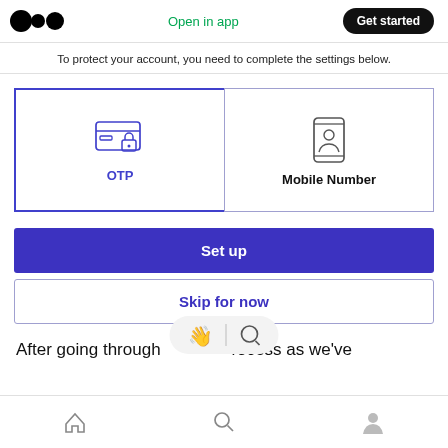Medium logo | Open in app | Get started
To protect your account, you need to complete the settings below.
[Figure (screenshot): Two option boxes: OTP (selected, with credit card + lock icon, purple border) and Mobile Number (with phone/person icon, gray border)]
Set up
Skip for now
After going through process as we've
[Figure (screenshot): Floating pill bar with waving hand emoji and search/chat icon]
Home | Search | Profile icons bottom nav